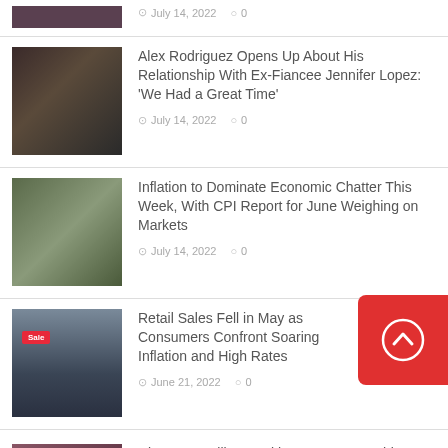[Figure (photo): Partial thumbnail photo at top]
July 14, 2022  0
[Figure (photo): Photo of Alex Rodriguez and Jennifer Lopez at an event]
Alex Rodriguez Opens Up About His Relationship With Ex-Fiancee Jennifer Lopez: 'We Had a Great Time'
July 14, 2022  0
[Figure (photo): Photo of colorful products at a store]
Inflation to Dominate Economic Chatter This Week, With CPI Report for June Weighing on Markets
July 14, 2022  0
[Figure (photo): Photo of clothes on racks with a Sale sign]
Retail Sales Fell in May as Consumers Confront Soaring Inflation and High Rates
June 21, 2022  0
[Figure (photo): Partial thumbnail at bottom]
Divorce Is Will Feat Aith... Danat Evergthi...